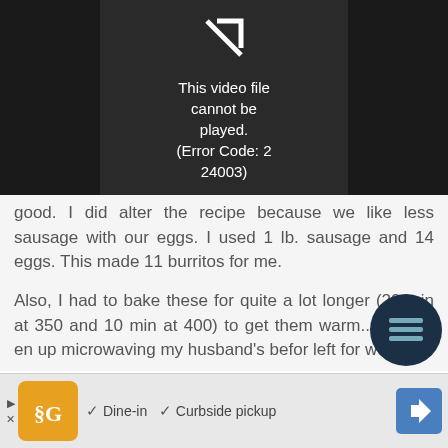[Figure (screenshot): Video player showing error: This video file cannot be played. (Error Code: 2 24003)]
good. I did alter the recipe because we like less sausage with our eggs. I used 1 lb. sausage and 14 eggs. This made 11 burritos for me.

Also, I had to bake these for quite a lot longer (20 min at 350 and 10 min at 400) to get them warm...and still end up microwaving my husband's before left for work.
[Figure (screenshot): Advertisement bar with logo, Dine-in and Curbside pickup checkmarks, and navigation arrow button]